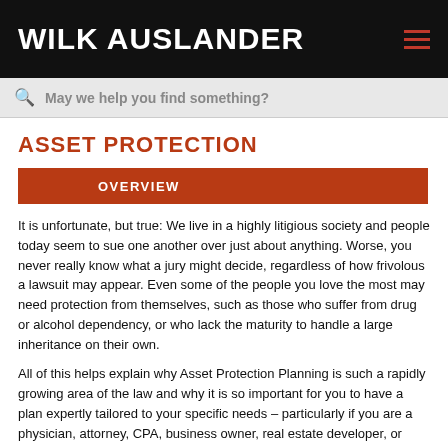WILK AUSLANDER
ASSET PROTECTION
OVERVIEW
It is unfortunate, but true: We live in a highly litigious society and people today seem to sue one another over just about anything. Worse, you never really know what a jury might decide, regardless of how frivolous a lawsuit may appear. Even some of the people you love the most may need protection from themselves, such as those who suffer from drug or alcohol dependency, or who lack the maturity to handle a large inheritance on their own.
All of this helps explain why Asset Protection Planning is such a rapidly growing area of the law and why it is so important for you to have a plan expertly tailored to your specific needs – particularly if you are a physician, attorney, CPA, business owner, real estate developer, or member of a profession that is subject to an unusually high number of lawsuits.
Wilk Auslander provides the guidance that individuals, families and owners of closely-held companies need in understanding the risks they face. We then design creative asset protection plans to guard against potential liabilities.